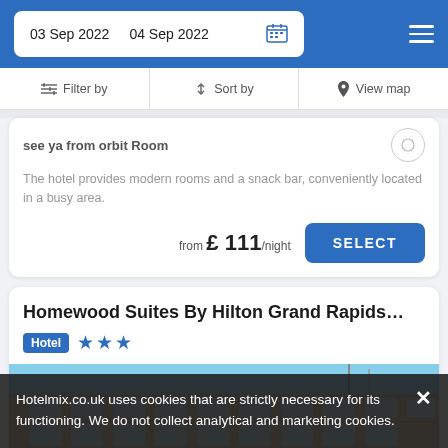03 Sep 2022   04 Sep 2022
Filter by   Sort by   View map
see ya from orbit Room
The hotel provides modern rooms and a snack bar, conveniently located in a busy area.
from £ 111/night
Homewood Suites By Hilton Grand Rapids…
Hotel ★★★
[Figure (photo): Photo of a brick hotel building exterior with blue sky]
Hotelmix.co.uk uses cookies that are strictly necessary for its functioning. We do not collect analytical and marketing cookies.